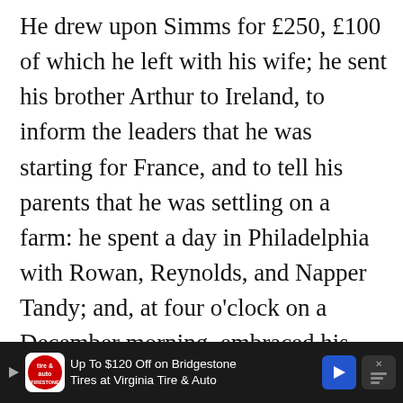He drew upon Simms for £250, £100 of which he left with his wife; he sent his brother Arthur to Ireland, to inform the leaders that he was starting for France, and to tell his parents that he was settling on a farm: he spent a day in Philadelphia with Rowan, Reynolds, and Napper Tandy; and, at four o'clock on a December morning, embraced his wife, children, and sister, and set off for New York.
—
“The courage and firmness of the women supported me: … we had neither tears nor
[Figure (other): Advertisement banner at bottom of page: Up To $120 Off on Bridgestone Tires at Virginia Tire & Auto]